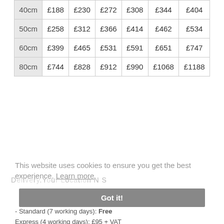| 40cm | £188 | £230 | £272 | £308 | £344 | £404 |
| 50cm | £258 | £312 | £366 | £414 | £462 | £534 |
| 60cm | £399 | £465 | £531 | £591 | £651 | £747 |
| 80cm | £744 | £828 | £912 | £990 | £1068 | £1188 |
This website uses cookies to ensure you get the best experience. Learn more
Got it!
- Standard (7 working days): Free
Express (4 working days): £95 + VAT